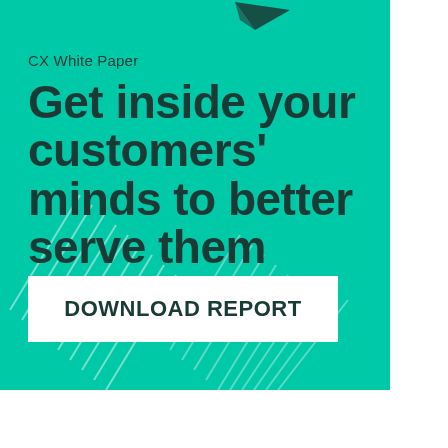[Figure (illustration): Teal/turquoise background with diagonal white line decorations and a paper airplane logo in top right corner]
CX White Paper
Get inside your customers' minds to better serve them
DOWNLOAD REPORT